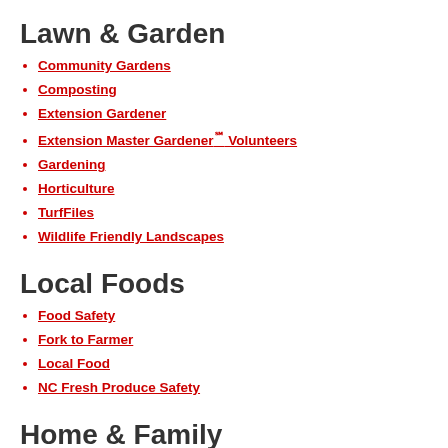Lawn & Garden
Community Gardens
Composting
Extension Gardener
Extension Master Gardener℠ Volunteers
Gardening
Horticulture
TurfFiles
Wildlife Friendly Landscapes
Local Foods
Food Safety
Fork to Farmer
Local Food
NC Fresh Produce Safety
Home & Family
Family & Consumer Sciences Program